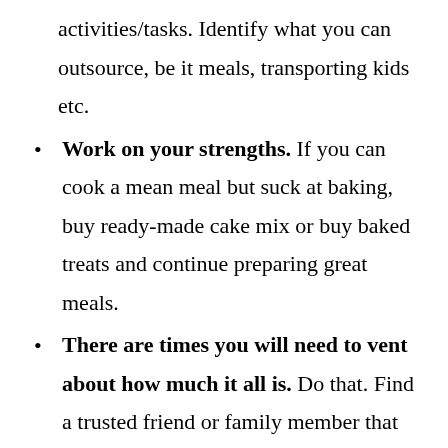activities/tasks. Identify what you can outsource, be it meals, transporting kids etc.
Work on your strengths. If you can cook a mean meal but suck at baking, buy ready-made cake mix or buy baked treats and continue preparing great meals.
There are times you will need to vent about how much it all is. Do that. Find a trusted friend or family member that you can express your feelings and frustrations with. Then pick yourself up and walk right